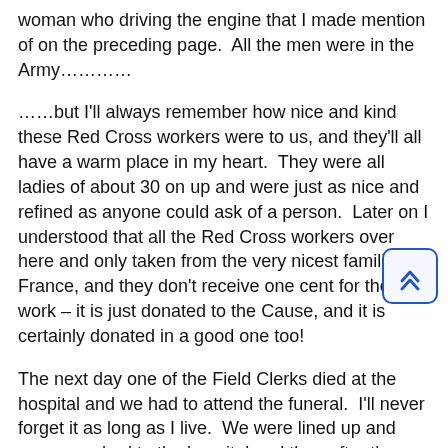woman who driving the engine that I made mention of on the preceding page.  All the men were in the Army…………
……but I'll always remember how nice and kind these Red Cross workers were to us, and they'll all have a warm place in my heart.  They were all ladies of about 30 on up and were just as nice and refined as anyone could ask of a person.  Later on I understood that all the Red Cross workers over here and only taken from the very nicest families in France, and they don't receive one cent for their work – it is just donated to the Cause, and it is certainly donated in a good one too!
The next day one of the Field Clerks died at the hospital and we had to attend the funeral.  I'll never forget it as long as I live.  We were lined up and were marched to the hospital and then after the body was brought out we marched out to the cemetery which was quite a ways from the hospital.  A peculiar thing the French people do is when a hearse passes …..that the civilians and soldiers salute.  Isn't that a strange way to do things?  The ceremony was very short but impressive, and I don't think I want to go to very many funerals 'comme'